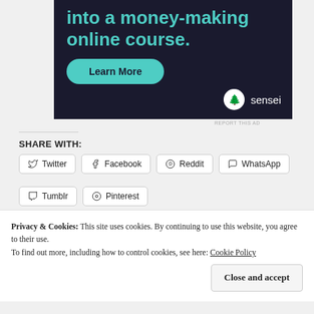[Figure (illustration): Advertisement banner with dark navy background. Text reads 'into a money-making online course.' in teal color with a green 'Learn More' pill button and the Sensei logo at bottom right.]
REPORT THIS AD
SHARE WITH:
Twitter
Facebook
Reddit
WhatsApp
Tumblr
Pinterest
Privacy & Cookies: This site uses cookies. By continuing to use this website, you agree to their use.
To find out more, including how to control cookies, see here: Cookie Policy
Close and accept